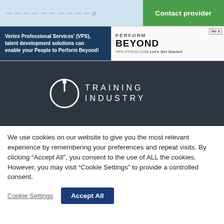Contact provider
[Figure (screenshot): Vertex Professional Services (VPS) advertisement banner: blue left panel with text 'Vertex Professional Services' (VPS), talent development solutions can enable your People to Perform Beyond!' and right panel with 'PERFORM BEYOND VPS.VTXCO.COM Let's Get Started']
[Figure (logo): Training Industry logo — circular power-button icon with 'TRAINING INDUSTRY' text in white on dark background]
We use cookies on our website to give you the most relevant experience by remembering your preferences and repeat visits. By clicking “Accept All”, you consent to the use of ALL the cookies. However, you may visit “Cookie Settings” to provide a controlled consent.
Cookie Settings   Accept All